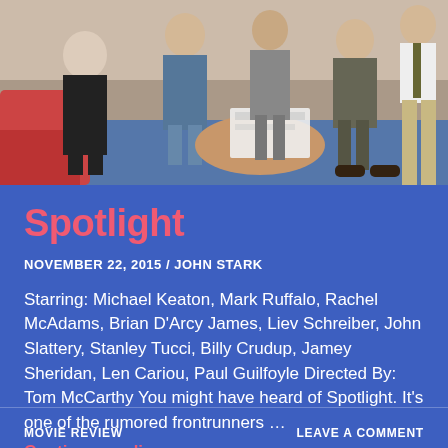[Figure (photo): Group of people seated around a table in a meeting room, appearing to be in discussion. A man in khaki pants stands at the right edge of the frame.]
Spotlight
NOVEMBER 22, 2015 / JOHN STARK
Starring: Michael Keaton, Mark Ruffalo, Rachel McAdams, Brian D'Arcy James, Liev Schreiber, John Slattery, Stanley Tucci, Billy Crudup, Jamey Sheridan, Len Cariou, Paul Guilfoyle Directed By: Tom McCarthy You might have heard of Spotlight. It's one of the rumored frontrunners …
Continue reading
MOVIE REVIEW   LEAVE A COMMENT